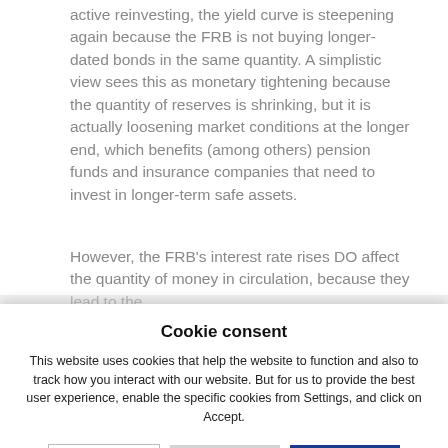active reinvesting, the yield curve is steepening again because the FRB is not buying longer-dated bonds in the same quantity. A simplistic view sees this as monetary tightening because the quantity of reserves is shrinking, but it is actually loosening market conditions at the longer end, which benefits (among others) pension funds and insurance companies that need to invest in longer-term safe assets.
However, the FRB's interest rate rises DO affect the quantity of money in circulation, because they lead to the...
Cookie consent
This website uses cookies that help the website to function and also to track how you interact with our website. But for us to provide the best user experience, enable the specific cookies from Settings, and click on Accept.
Preferences
Reject All
Accept All